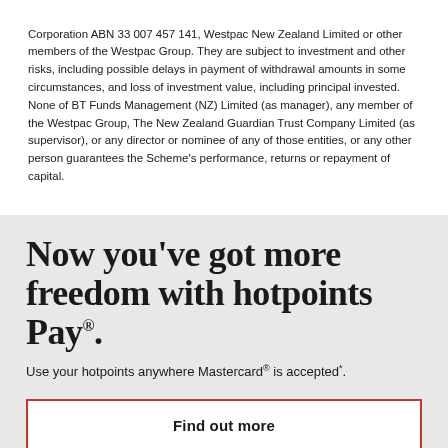Corporation ABN 33 007 457 141, Westpac New Zealand Limited or other members of the Westpac Group. They are subject to investment and other risks, including possible delays in payment of withdrawal amounts in some circumstances, and loss of investment value, including principal invested. None of BT Funds Management (NZ) Limited (as manager), any member of the Westpac Group, The New Zealand Guardian Trust Company Limited (as supervisor), or any director or nominee of any of those entities, or any other person guarantees the Scheme's performance, returns or repayment of capital.
Now you've got more freedom with hotpoints Pay®.
Use your hotpoints anywhere Mastercard® is accepted*.
Find out more